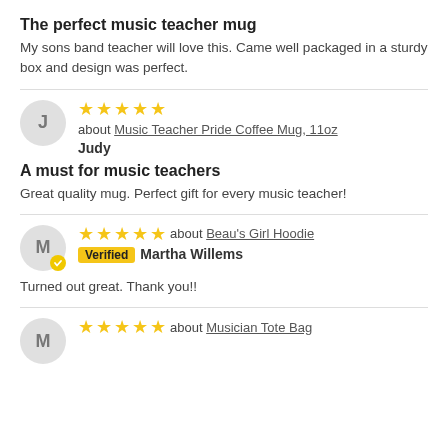The perfect music teacher mug
My sons band teacher will love this. Came well packaged in a sturdy box and design was perfect.
★★★★★ about Music Teacher Pride Coffee Mug, 11oz
Judy
A must for music teachers
Great quality mug. Perfect gift for every music teacher!
★★★★★ about Beau's Girl Hoodie
Verified Martha Willems
Turned out great. Thank you!!
★★★★★ about Musician Tote Bag